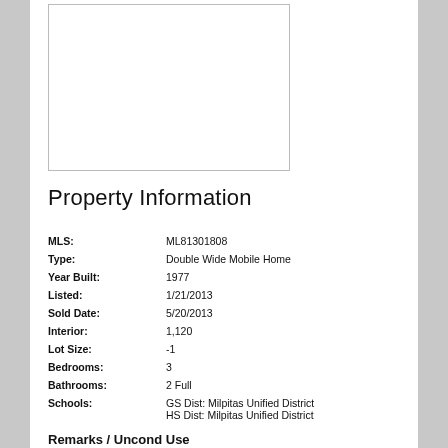[Figure (photo): Property photo placeholder — white box with border]
Property Information
| Field | Value |
| --- | --- |
| MLS: | ML81301808 |
| Type: | Double Wide Mobile Home |
| Year Built: | 1977 |
| Listed: | 1/21/2013 |
| Sold Date: | 5/20/2013 |
| Interior: | 1,120 |
| Lot Size: | -1 |
| Bedrooms: | 3 |
| Bathrooms: | 2 Full |
| Schools: | GS Dist: Milpitas Unified District
HS Dist: Milpitas Unified District |
Remarks / Uncond Use